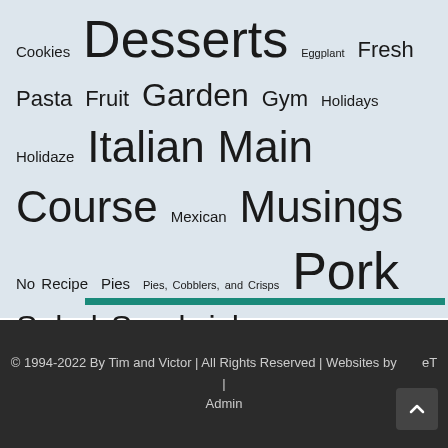Cookies Desserts Eggplant Fresh Pasta Fruit Garden Gym Holidays Holidaze Italian Main Course Mexican Musings No Recipe Pies Pies, Cobblers, and Crisps Pork Salad Sandwiches Sauces sausage Seafood Sides Soup Turkey Vaguely Ethnic Vegetarian Wing-It Recipes
© 1994-2022 By Tim and Victor | All Rights Reserved | Websites by [nET] | Admin